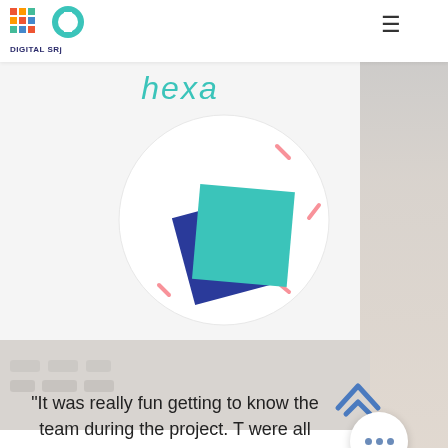[Figure (logo): Digital SRj logo with colorful pixel grid icon and text 'DIGITAL SRj']
hexa
[Figure (illustration): Circle containing two overlapping rotated squares — one dark blue and one teal/green — with small pink diagonal dash marks around the outside of the circle]
[Figure (photo): Background photo of hands on keyboard, visible on right side and bottom portion of the page]
“It was really fun getting to know the team during the project. T were all helpful in answering
[Figure (other): Up arrow chevron icon button in blue outline style]
[Figure (other): White circle button with three grey dots (more/menu indicator)]